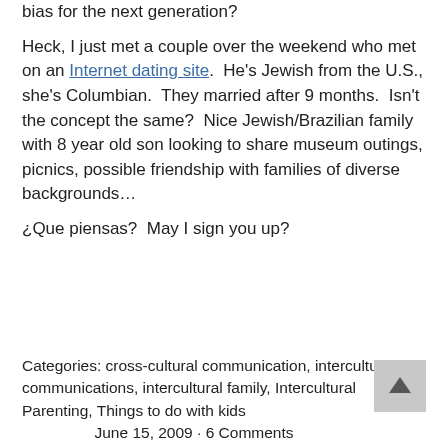bias for the next generation?

Heck, I just met a couple over the weekend who met on an Internet dating site.  He's Jewish from the U.S., she's Columbian.  They married after 9 months.  Isn't the concept the same?  Nice Jewish/Brazilian family with 8 year old son looking to share museum outings, picnics, possible friendship with families of diverse backgrounds…

¿Que piensas?  May I sign you up?
Categories: cross-cultural communication, intercultural communications, intercultural family, Intercultural Parenting, Things to do with kids
June 15, 2009 · 6 Comments